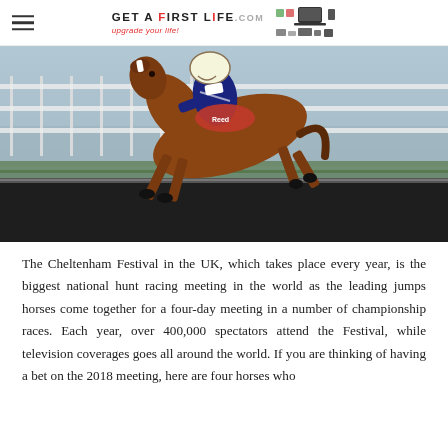GET A FIRST LIFE .com — upgrade your life!
[Figure (photo): A racehorse and jockey jumping over a large fence/hedge obstacle at the Cheltenham Festival horse racing event. The horse is mid-jump, leaping over a dark brush fence. The background shows white rail fencing and a pale grey winter sky.]
The Cheltenham Festival in the UK, which takes place every year, is the biggest national hunt racing meeting in the world as the leading jumps horses come together for a four-day meeting in a number of championship races. Each year, over 400,000 spectators attend the Festival, while television coverages goes all around the world. If you are thinking of having a bet on the 2018 meeting, here are four horses who